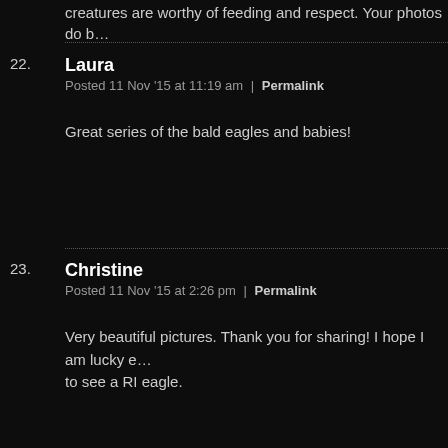creatures are worthy of feeding and respect. Your photos do b…
22. Laura
Posted 11 Nov '15 at 11:19 am | Permalink

Great series of the bald eagles and babies!
23. Christine
Posted 11 Nov '15 at 2:26 pm | Permalink

Very beautiful pictures. Thank you for sharing! I hope I am lucky enough to see a RI eagle.